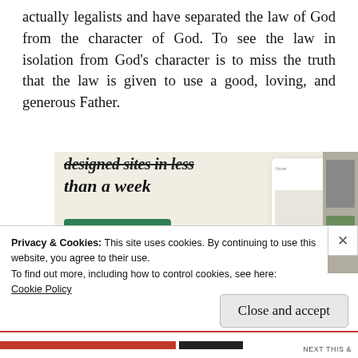actually legalists and have separated the law of God from the character of God. To see the law in isolation from God's character is to miss the truth that the law is given to use a good, loving, and generous Father.
[Figure (screenshot): Advertisement banner showing partial text 'designed sites in less than a week' with an Explore options button and a device/app screenshot mockup on a beige background.]
Privacy & Cookies: This site uses cookies. By continuing to use this website, you agree to their use.
To find out more, including how to control cookies, see here:
Cookie Policy
Close and accept
NEXT THIS &